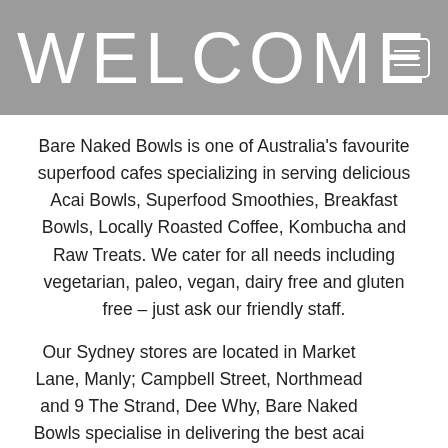WELCOME
Bare Naked Bowls is one of Australia's favourite superfood cafes specializing in serving delicious Acai Bowls, Superfood Smoothies, Breakfast Bowls,  Locally Roasted Coffee, Kombucha and Raw Treats. We cater for all needs including vegetarian, paleo, vegan, dairy free and gluten free – just ask our friendly staff.
Our Sydney stores are located in Market Lane, Manly; Campbell Street, Northmead and 9 The Strand, Dee Why, Bare Naked Bowls specialise in delivering the best acai bowls.  Our Brisbane stores are located at 55 Sherwood Road, Toowong, 11 Stratton Street, Newstead and 45 Cambridge